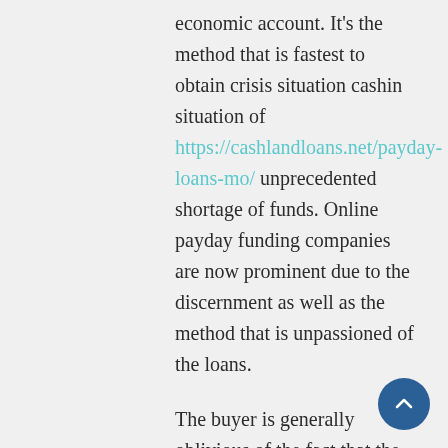economic account. It's the method that is fastest to obtain crisis situation cashin situation of https://cashlandloans.net/payday-loans-mo/ unprecedented shortage of funds. Online payday funding companies are now prominent due to the discernment as well as the method that is unpassioned of the loans.
The buyer is generally oblivious of the fact that the loan providers are seeking triple hand interest